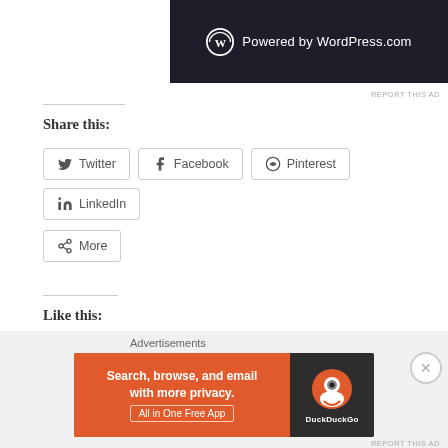[Figure (screenshot): WordPress.com powered banner ad — dark background with WordPress logo and text 'Powered by WordPress.com']
REPORT THIS AD
Share this:
Twitter  Facebook  Pinterest  LinkedIn
More
Like this:
[Figure (screenshot): Like widget with blue star Like button and blogger avatar thumbnail]
One blogger likes this.
Tip Sheet
Advertisements
[Figure (screenshot): DuckDuckGo advertisement banner: 'Search, browse, and email with more privacy. All in One Free App' with DuckDuckGo logo]